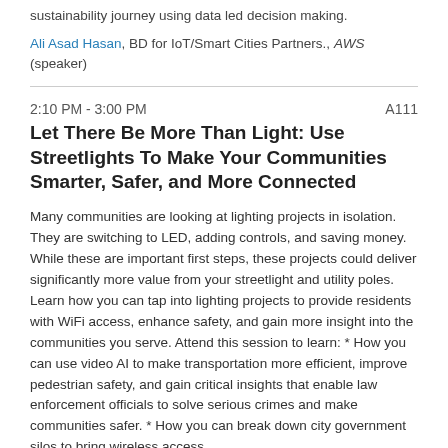sustainability journey using data led decision making.
Ali Asad Hasan, BD for IoT/Smart Cities Partners., AWS (speaker)
2:10 PM - 3:00 PM   A111
Let There Be More Than Light: Use Streetlights To Make Your Communities Smarter, Safer, and More Connected
Many communities are looking at lighting projects in isolation. They are switching to LED, adding controls, and saving money. While these are important first steps, these projects could deliver significantly more value from your streetlight and utility poles. Learn how you can tap into lighting projects to provide residents with WiFi access, enhance safety, and gain more insight into the communities you serve. Attend this session to learn: * How you can use video AI to make transportation more efficient, improve pedestrian safety, and gain critical insights that enable law enforcement officials to solve serious crimes and make communities safer. * How you can break down city government silos to bring wireless access